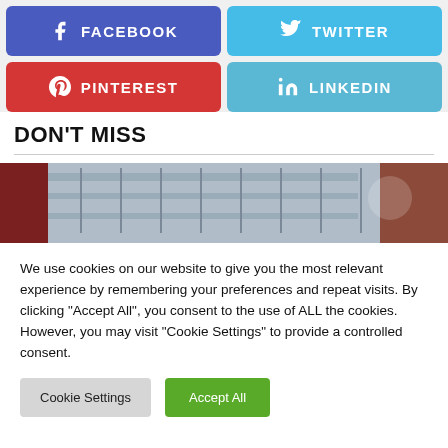[Figure (infographic): Four social media share buttons in a 2x2 grid: Facebook (blue-purple), Twitter (light blue), Pinterest (red), LinkedIn (light blue), each with icon and uppercase label text.]
DON'T MISS
[Figure (photo): Blurry outdoor photo showing a building exterior with balconies/railings and a dark reddish-brown section, partially obscured.]
We use cookies on our website to give you the most relevant experience by remembering your preferences and repeat visits. By clicking "Accept All", you consent to the use of ALL the cookies. However, you may visit "Cookie Settings" to provide a controlled consent.
Cookie Settings   Accept All